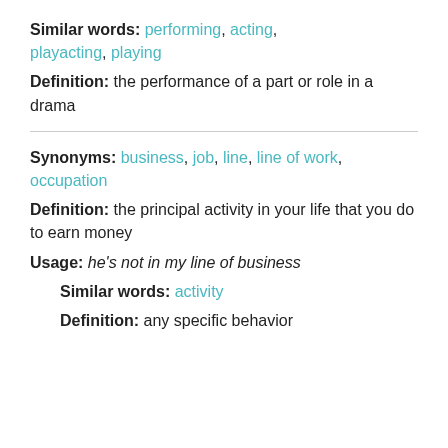Similar words: performing, acting, playacting, playing
Definition: the performance of a part or role in a drama
Synonyms: business, job, line, line of work, occupation
Definition: the principal activity in your life that you do to earn money
Usage: he's not in my line of business
Similar words: activity
Definition: any specific behavior